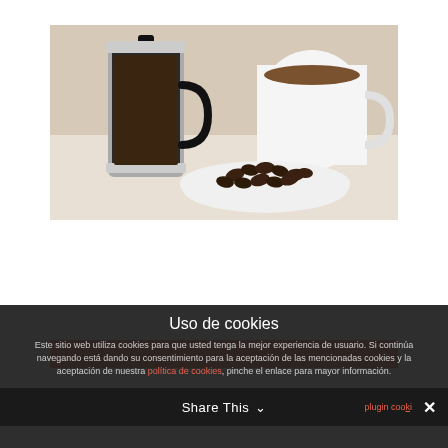[Figure (photo): A French press coffee maker on the left and a white bowl filled with coffee beans in the center-right, with a white coffee mug in the background, all on a light surface.]
Uso de cookies
Este sitio web utiliza cookies para que usted tenga la mejor experiencia de usuario. Si continúa navegando está dando su consentimiento para la aceptación de las mencionadas cookies y la aceptación de nuestra política de cookies, pinche el enlace para mayor información.
plugin cookies
Share This